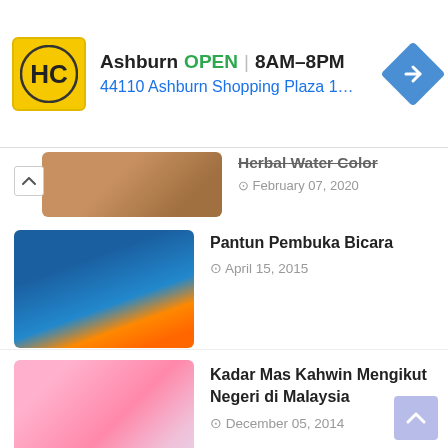[Figure (screenshot): Advertisement banner for HC (Herbal Color?) store in Ashburn showing OPEN status, hours 8AM-8PM, address 44110 Ashburn Shopping Plaza 190]
[Figure (photo): Partially visible thumbnail image - watercolor/art]
Herbal Water Color
February 07, 2020
[Figure (photo): Hands holding orange flower petals against blue background - Pantun Pembuka Bicara]
Pantun Pembuka Bicara
April 15, 2015
[Figure (photo): Table/chart image for Kadar Mas Kahwin Mengikut Negeri di Malaysia]
Kadar Mas Kahwin Mengikut Negeri di Malaysia
December 05, 2014
[Figure (photo): Ring on red rose - Apakah sebenarnya itu Wang Hantaran?]
Apakah sebenarnya itu Wang Hantaran?
December 05, 2014
[Figure (photo): Henna/inai pattern on hands - Inai Pengantin Cantik dan Berseri]
Inai Pengantin Cantik dan Berseri
August 16, 2015